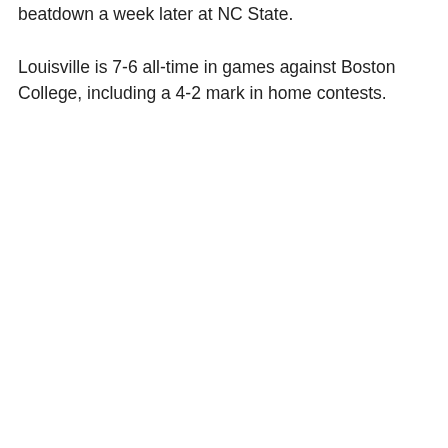beatdown a week later at NC State.
Louisville is 7-6 all-time in games against Boston College, including a 4-2 mark in home contests.